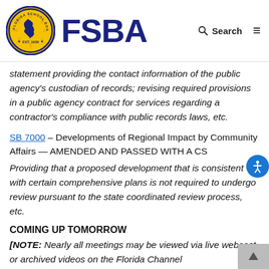[Figure (logo): FSBA Florida School Boards Association logo with circular badge and text]
statement providing the contact information of the public agency's custodian of records; revising required provisions in a public agency contract for services regarding a contractor's compliance with public records laws, etc.
SB 7000 – Developments of Regional Impact by Community Affairs — AMENDED AND PASSED WITH A CS
Providing that a proposed development that is consistent with certain comprehensive plans is not required to undergo review pursuant to the state coordinated review process, etc.
COMING UP TOMORROW
[NOTE: Nearly all meetings may be viewed via live webcast or archived videos on the Florida Channel